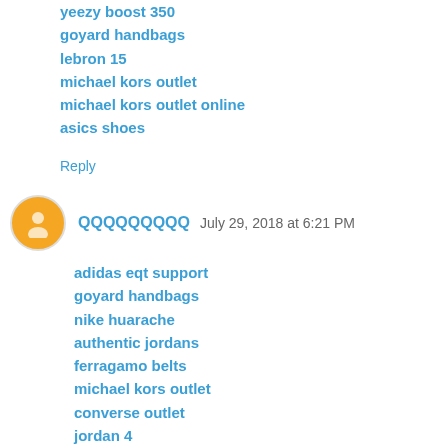yeezy boost 350
goyard handbags
lebron 15
michael kors outlet
michael kors outlet online
asics shoes
Reply
QQQQQQQQQ July 29, 2018 at 6:21 PM
adidas eqt support
goyard handbags
nike huarache
authentic jordans
ferragamo belts
michael kors outlet
converse outlet
jordan 4
jordan retro 6
bape hoodie
Reply